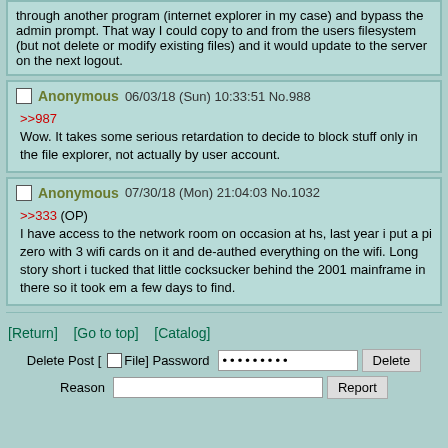through another program (internet explorer in my case) and bypass the admin prompt. That way I could copy to and from the users filesystem (but not delete or modify existing files) and it would update to the server on the next logout.
Anonymous 06/03/18 (Sun) 10:33:51 No.988
>>987
Wow. It takes some serious retardation to decide to block stuff only in the file explorer, not actually by user account.
Anonymous 07/30/18 (Mon) 21:04:03 No.1032
>>333 (OP)
I have access to the network room on occasion at hs, last year i put a pi zero with 3 wifi cards on it and de-authed everything on the wifi. Long story short i tucked that little cocksucker behind the 2001 mainframe in there so it took em a few days to find.
[Return]  [Go to top]  [Catalog]
Delete Post [ ] File] Password ••••••••• Delete
Reason  Report